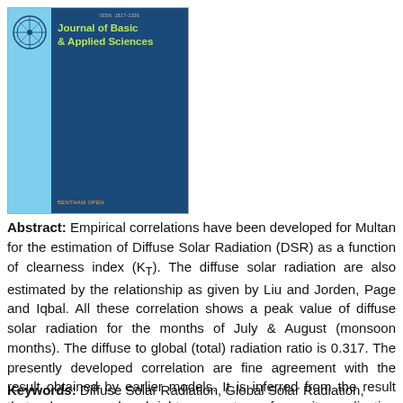[Figure (other): Journal cover of Journal of Basic & Applied Sciences, showing a two-tone cover with light blue left strip containing a circular logo/seal, and dark navy blue right panel with the journal title in yellow-green text and ISSN number at top.]
Abstract: Empirical correlations have been developed for Multan for the estimation of Diffuse Solar Radiation (DSR) as a function of clearness index (KT). The diffuse solar radiation are also estimated by the relationship as given by Liu and Jorden, Page and Iqbal. All these correlation shows a peak value of diffuse solar radiation for the months of July & August (monsoon months). The diffuse to global (total) radiation ratio is 0.317. The presently developed correlation are fine agreement with the result obtained by earlier models. It is inferred from the result that solar energy has bright prospects as far as its application and utilization is concerned.
Keywords: Diffuse Solar Radiation, Global Solar Radiation,